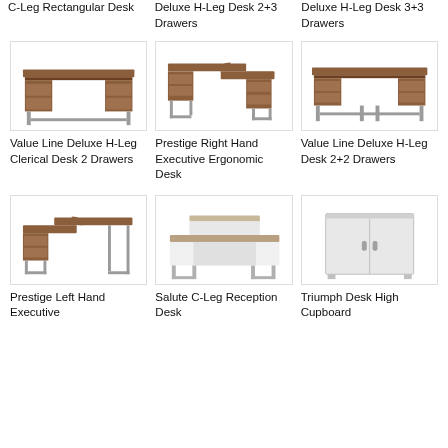C-Leg Rectangular Desk
Deluxe H-Leg Desk 2+3 Drawers
Deluxe H-Leg Desk 3+3 Drawers
[Figure (photo): Value Line Deluxe H-Leg Clerical Desk 2 Drawers - brown wood desk with silver legs and two drawer pedestals]
Value Line Deluxe H-Leg Clerical Desk 2 Drawers
[Figure (photo): Prestige Right Hand Executive Ergonomic Desk - L-shaped brown wood desk with silver C-legs and drawer pedestal]
Prestige Right Hand Executive Ergonomic Desk
[Figure (photo): Value Line Deluxe H-Leg Desk 2+2 Drawers - brown rectangular desk with silver legs and drawer pedestals on both sides]
Value Line Deluxe H-Leg Desk 2+2 Drawers
[Figure (photo): Prestige Left Hand Executive desk - brown L-shaped desk with silver C-legs]
Prestige Left Hand Executive
[Figure (photo): Salute C-Leg Reception Desk - white tiered reception desk with silver C-legs]
Salute C-Leg Reception Desk
[Figure (photo): Triumph Desk High Cupboard - white two-door storage cupboard]
Triumph Desk High Cupboard